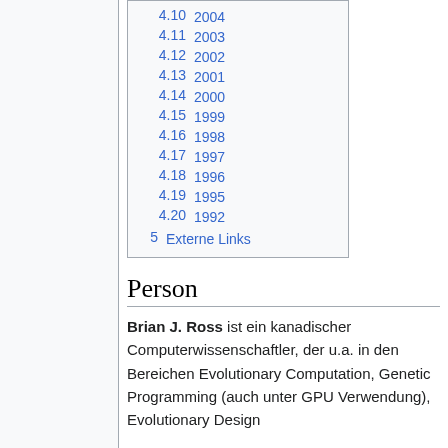4.10  2004
4.11  2003
4.12  2002
4.13  2001
4.14  2000
4.15  1999
4.16  1998
4.17  1997
4.18  1996
4.19  1995
4.20  1992
5  Externe Links
Person
Brian J. Ross ist ein kanadischer Computerwissenschaftler, der u.a. in den Bereichen Evolutionary Computation, Genetic Programming (auch unter GPU Verwendung), Evolutionary Design